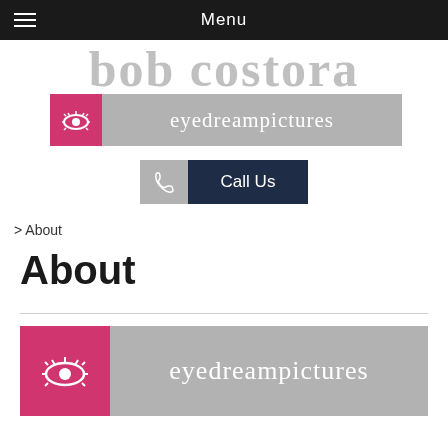Menu
[Figure (logo): eyedreampictures logo with pink eye icon on grey background, top header area with large grey watermark text behind it]
[Figure (other): Call Us button with phone icon on grey/dark navy background]
> About
About
[Figure (logo): eyedreampictures logo with pink eye icon on grey background, larger version]